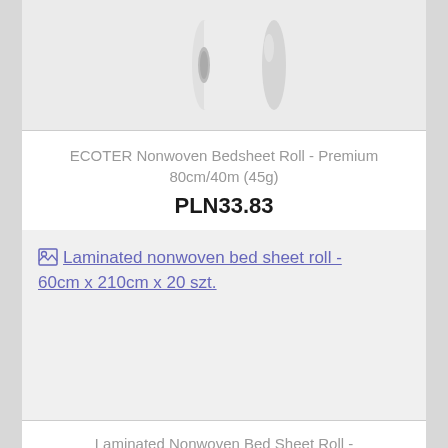[Figure (photo): Partial view of a product card showing a white nonwoven roll on a light gray background]
ECOTER Nonwoven Bedsheet Roll - Premium 80cm/40m (45g)
PLN33.83
[Figure (photo): Broken image placeholder for Laminated nonwoven bed sheet roll - 60cm x 210cm x 20 szt.]
Laminated Nonwoven Bed Sheet Roll -